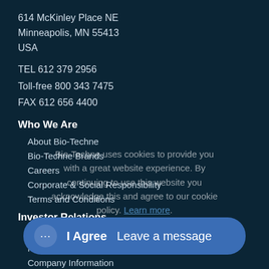614 McKinley Place NE
Minneapolis, MN 55413
USA
TEL 612 379 2956
Toll-free 800 343 7475
FAX 612 656 4400
Who We Are
About Bio-Techne
Bio-Techne Brands
Careers
Corporate & Social Responsibility
Terms and Conditions
Investor Relations
Overview
News / Events
Company Information
Financial Inf...
Stock Data
SEC Filings
Bio-Techne uses cookies to provide you with a great website experience. By continuing to use this website you acknowledge this and agree to our cookie policy. Learn more.
I Agree  Leave a message